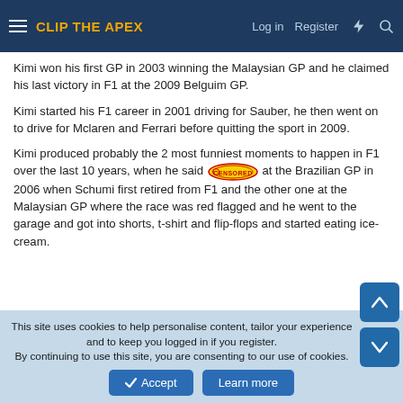CLIP THE APEX — Log in  Register
Kimi won his first GP in 2003 winning the Malaysian GP and he claimed his last victory in F1 at the 2009 Belguim GP.
Kimi started his F1 career in 2001 driving for Sauber, he then went on to drive for Mclaren and Ferrari before quitting the sport in 2009.
Kimi produced probably the 2 most funniest moments to happen in F1 over the last 10 years, when he said [CENSORED] at the Brazilian GP in 2006 when Schumi first retired from F1 and the other one at the Malaysian GP where the race was red flagged and he went to the garage and got into shorts, t-shirt and flip-flops and started eating ice-cream.
This site uses cookies to help personalise content, tailor your experience and to keep you logged in if you register. By continuing to use this site, you are consenting to our use of cookies.